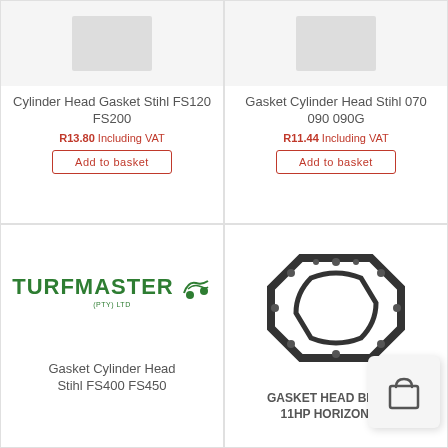[Figure (photo): Product image placeholder for Cylinder Head Gasket Stihl FS120 FS200]
Cylinder Head Gasket Stihl FS120 FS200
R13.80 Including VAT
Add to basket
[Figure (photo): Product image placeholder for Gasket Cylinder Head Stihl 070 090 090G]
Gasket Cylinder Head Stihl 070 090 090G
R11.44 Including VAT
Add to basket
[Figure (logo): Turfmaster (Pty) Ltd logo in green]
Gasket Cylinder Head Stihl FS400 FS450
[Figure (photo): Gasket head Briggs 11HP horizontal - octagonal black gasket with bolt holes]
GASKET HEAD BRIGGS 11HP HORIZONTAL